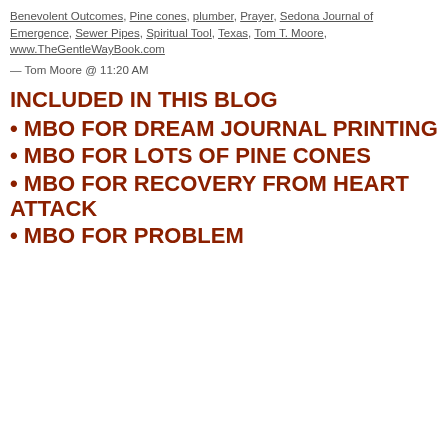Benevolent Outcomes, Pine cones, plumber, Prayer, Sedona Journal of Emergence, Sewer Pipes, Spiritual Tool, Texas, Tom T. Moore, www.TheGentleWayBook.com
— Tom Moore @ 11:20 AM
INCLUDED IN THIS BLOG
• MBO FOR DREAM JOURNAL PRINTING
• MBO FOR LOTS OF PINE CONES
• MBO FOR RECOVERY FROM HEART ATTACK
• MBO FOR PROBLEM